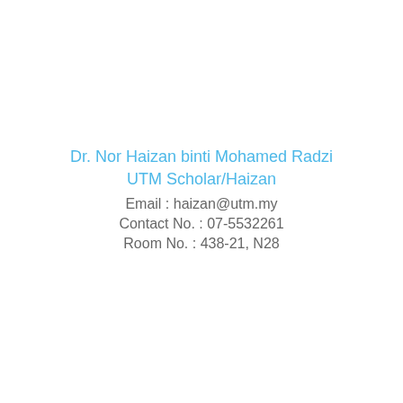Dr. Nor Haizan binti Mohamed Radzi
UTM Scholar/Haizan
Email : haizan@utm.my
Contact No. : 07-5532261
Room No. : 438-21, N28